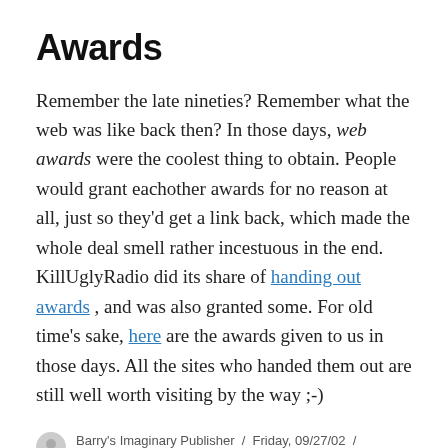Awards
Remember the late nineties? Remember what the web was like back then? In those days, web awards were the coolest thing to obtain. People would grant eachother awards for no reason at all, just so they'd get a link back, which made the whole deal smell rather incestuous in the end. KillUglyRadio did its share of handing out awards , and was also granted some. For old time's sake, here are the awards given to us in those days. All the sites who handed them out are still well worth visiting by the way ;-)
Barry's Imaginary Publisher / Friday, 09/27/02 / Uncategorized / 1 Comment